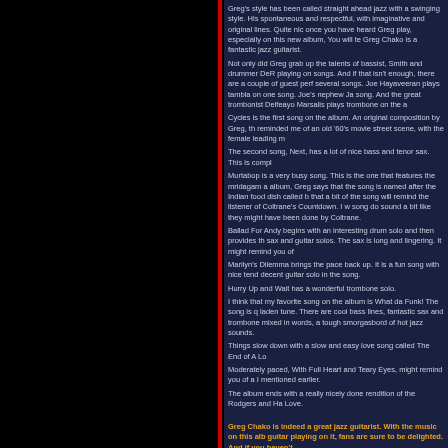Greg's style has been called straight ahead jazz with a swinging style. His spontaneous and respectful, with imaginative and original lines. Quite nice once you have heard Greg play, especially on this new album, You will te Greg Chako is a fantastic jazz guitarist. Not only did Greg grab up the talents of bassist, Smith and drummer DeR playing on songs. And if that isn't enough, there are a couple of guest perf several songs. Joe Hayaveeran plays tambla on one song. Joe's nephew Ja song. And the great trombonist Delfeayo Marsalis plays trombone on the a Cycles is the first song on the album. An original composition by Greg, th reminded me of an old '60's movie street scene, with the female leading m The second song, Next, has a lot of nice bass and tenor sax. This is compl Murtabop is a very busy song. This is the one that features the mridagam a album, Greg says that the song is named after the Indian food dish called b that a bit of the song will remind the listener of Coltrane's Countdown. I w song do sound a bit like they might have been done by Coltrane. Ballad For Andy begins with an interesting drum solo and then provides th sax and guitar solos. The sax is long and lingering. It might remind you of Marilyn's Dilemma brings the pace back up. It is a fun song with nice tend decent guitar solo in the song. Hurry Up and Wait has a wonderful trombone solo. I think that my favorite song on the album is What da Funk! The song is q laden tune. There are cool bass lines, fantastic sax and trombone mixed in words, a tough smorgasbord of hot jazz sounds. Things slow down with a slow and easy love song called The End of A Lo Moderately paced, With Full Heart and Teary Eyes, might remind you of a I mentioned earlier. The album ends with a really nicely done rendition of the Rodgers and Ha Love.
Greg Chako is indeed a great jazz guitarist. With the music on this alb guitar playing on it, fans are sure to be delighted. And if you haven't